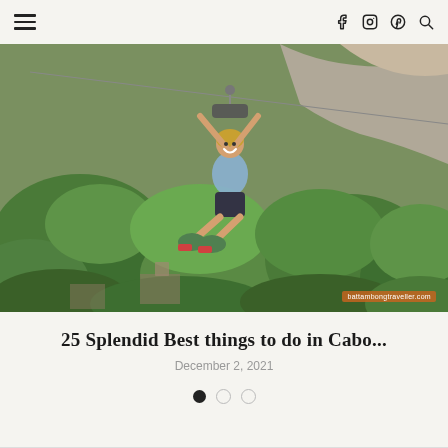navigation header with hamburger menu and social icons (Facebook, Instagram, Pinterest, Search)
[Figure (photo): Woman on a zip line over lush green mountainous terrain, smiling, wearing a helmet and harness. Watermark: battambongtraveller.com]
25 Splendid Best things to do in Cabo...
December 2, 2021